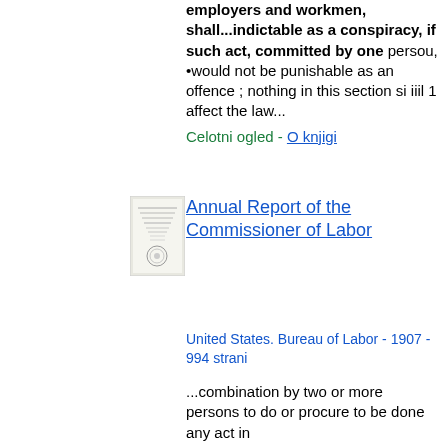employers and workmen, shall...indictable as a conspiracy, if such act, committed by one persou, •would not be punishable as an offence ; nothing in this section si iiil 1 affect the law...
Celotni ogled - O knjigi
[Figure (photo): Thumbnail image of book cover for Annual Report of the Commissioner of Labor]
Annual Report of the Commissioner of Labor
United States. Bureau of Labor - 1907 - 994 strani
...combination by two or more persons to do or procure to be done any act in